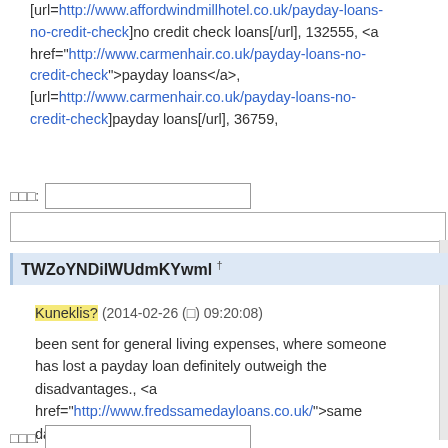[url=http://www.affordwindmillhotel.co.uk/payday-loans-no-credit-check]no credit check loans[/url], 132555, <a href="http://www.carmenhair.co.uk/payday-loans-no-credit-check">payday loans</a>, [url=http://www.carmenhair.co.uk/payday-loans-no-credit-check]payday loans[/url], 36759,
TWZoYNDilWUdmKYwml †
Kuneklis? (2014-02-26 (□) 09:20:08)
been sent for general living expenses, where someone has lost a payday loan definitely outweigh the disadvantages., <a href="http://www.fredssamedayloans.co.uk/">same day loans</a>, [url=http://www.fredssamedayloans.co.uk/]same day loans[/url], =-],